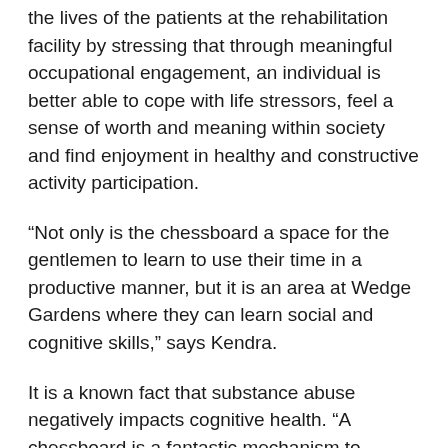the lives of the patients at the rehabilitation facility by stressing that through meaningful occupational engagement, an individual is better able to cope with life stressors, feel a sense of worth and meaning within society and find enjoyment in healthy and constructive activity participation.
“Not only is the chessboard a space for the gentlemen to learn to use their time in a productive manner, but it is an area at Wedge Gardens where they can learn social and cognitive skills,” says Kendra.
It is a known fact that substance abuse negatively impacts cognitive health. “A chessboard is a fantastic mechanism to promote cognitive skills such as concentration and attention, memory, problem solving, judgement and executive tasks. Furthermore, as the game requires at least two players, the patients at Wedge are exposed to social interaction, which aids communication and conflict management skills,” says Kendra.